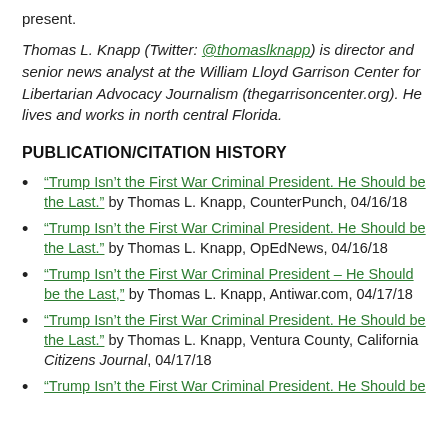present.
Thomas L. Knapp (Twitter: @thomaslknapp) is director and senior news analyst at the William Lloyd Garrison Center for Libertarian Advocacy Journalism (thegarrisoncenter.org). He lives and works in north central Florida.
PUBLICATION/CITATION HISTORY
“Trump Isn’t the First War Criminal President. He Should be the Last.” by Thomas L. Knapp, CounterPunch, 04/16/18
“Trump Isn’t the First War Criminal President. He Should be the Last.” by Thomas L. Knapp, OpEdNews, 04/16/18
“Trump Isn’t the First War Criminal President – He Should be the Last,” by Thomas L. Knapp, Antiwar.com, 04/17/18
“Trump Isn’t the First War Criminal President. He Should be the Last.” by Thomas L. Knapp, Ventura County, California Citizens Journal, 04/17/18
“Trump Isn’t the First War Criminal President. He Should be the Last.” by Thomas L. Knapp, [truncated]